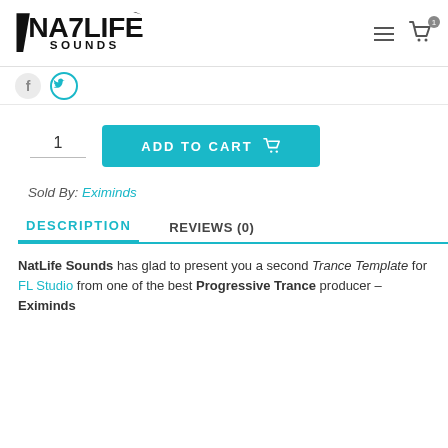NatLife Sounds logo, hamburger menu, cart icon with badge 1
[Figure (logo): NatLife Sounds logo — stylized black bold text NATLIFE SOUNDS with diagonal slash graphic]
[Figure (illustration): Social media icons strip — circular Facebook and Twitter icons]
1   ADD TO CART
Sold By: Eximinds
DESCRIPTION
REVIEWS (0)
NatLife Sounds has glad to present you a second Trance Template for FL Studio from one of the best Progressive Trance producer – Eximinds